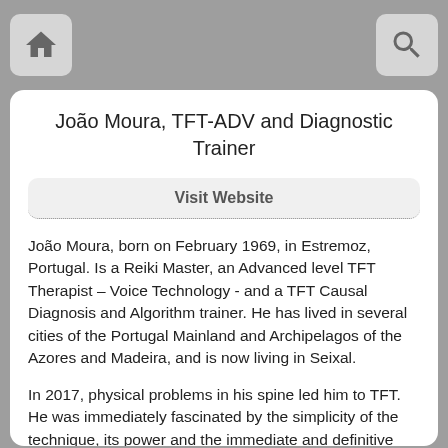João Moura, TFT-ADV and Diagnostic Trainer
Visit Website
João Moura, born on February 1969, in Estremoz, Portugal. Is a Reiki Master, an Advanced level TFT Therapist – Voice Technology - and a TFT Causal Diagnosis and Algorithm trainer. He has lived in several cities of the Portugal Mainland and Archipelagos of the Azores and Madeira, and is now living in Seixal.
In 2017, physical problems in his spine led him to TFT. He was immediately fascinated by the simplicity of the technique, its power and the immediate and definitive effects it had in the emotional field, as well as the extraordinaire results in the physical level.